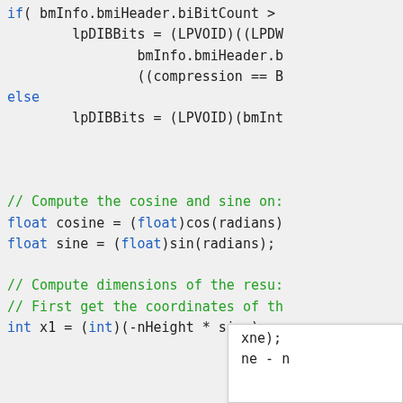if( bmInfo.bmiHeader.biBitCount >
    lpDIBBits = (LPVOID)((LPDW
        bmInfo.bmiHeader.b
        ((compression == B
else
    lpDIBBits = (LPVOID)(bmInt

// Compute the cosine and sine on:
float cosine = (float)cos(radians)
float sine = (float)sin(radians);

// Compute dimensions of the resu:
// First get the coordinates of th
int x1 = (int)(-nHeight * sine);
int ... (int)(... xne);
... ne - n